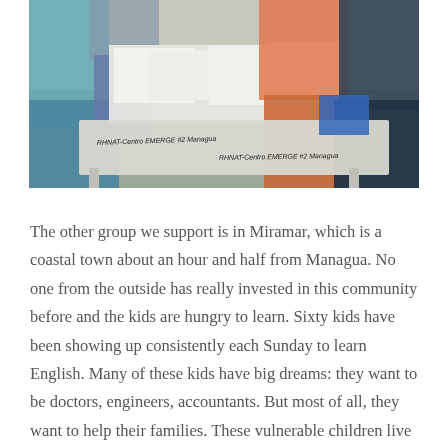[Figure (photo): Group of children and adults sitting around a white plastic table with papers on it. The table has handwritten text reading 'RHNAT-Centro EMERGE #2 Managua' on both visible sides.]
The other group we support is in Miramar, which is a coastal town about an hour and half from Managua. No one from the outside has really invested in this community before and the kids are hungry to learn. Sixty kids have been showing up consistently each Sunday to learn English. Many of these kids have big dreams: they want to be doctors, engineers, accountants. But most of all, they want to help their families. These vulnerable children live in a very poor